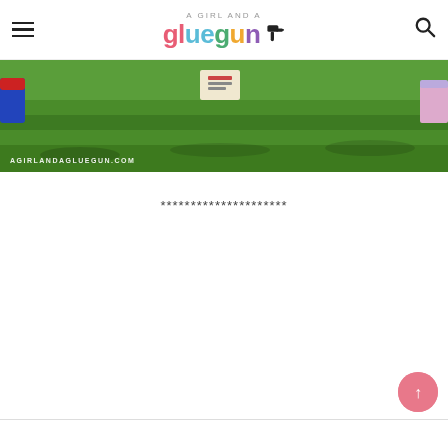A Girl and a Glue Gun — Navigation header with hamburger menu and search icon
[Figure (photo): Green grass lawn photo with partial view of items/signs on the grass, with watermark text AGIRLANDAGLUEGUN.COM in lower left]
*********************
[Figure (other): Pink circular back-to-top button with upward arrow]